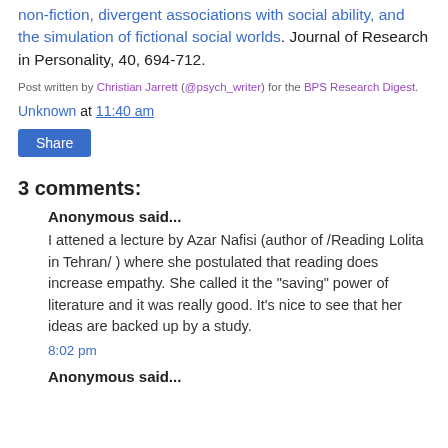non-fiction, divergent associations with social ability, and the simulation of fictional social worlds. Journal of Research in Personality, 40, 694-712.
Post written by Christian Jarrett (@psych_writer) for the BPS Research Digest.
Unknown at 11:40 am
Share
3 comments:
Anonymous said...
I attened a lecture by Azar Nafisi (author of /Reading Lolita in Tehran/ ) where she postulated that reading does increase empathy. She called it the "saving" power of literature and it was really good. It's nice to see that her ideas are backed up by a study.
8:02 pm
Anonymous said...